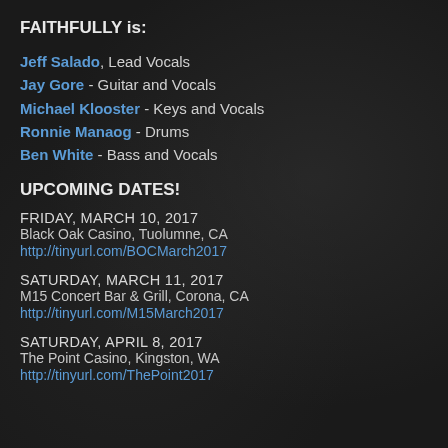FAITHFULLY is:
Jeff Salado, Lead Vocals
Jay Gore - Guitar and Vocals
Michael Klooster - Keys and Vocals
Ronnie Manaog - Drums
Ben White - Bass and Vocals
UPCOMING DATES!
FRIDAY, MARCH 10, 2017
Black Oak Casino, Tuolumne, CA
http://tinyurl.com/BOCMarch2017
SATURDAY, MARCH 11, 2017
M15 Concert Bar & Grill, Corona, CA
http://tinyurl.com/M15March2017
SATURDAY, APRIL 8, 2017
The Point Casino, Kingston, WA
http://tinyurl.com/ThePoint2017